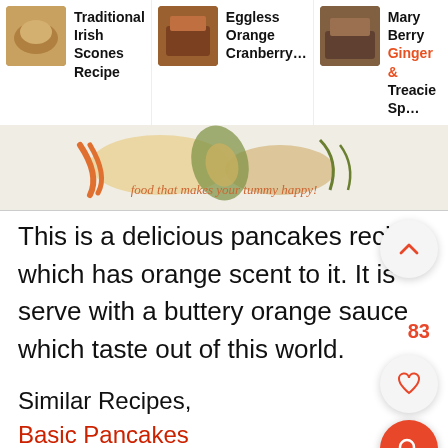[Figure (screenshot): Top navigation banner showing recipe cards: Traditional Irish Scones Recipe, Eggless Orange Cranberry..., Mary Berry Ginger & Treacle Sp... with food photography thumbnails and tagline 'food that makes your tummy happy!']
This is a delicious pancakes recipe which has orange scent to it. It is serve with a buttery orange sauce which taste out of this world.
Similar Recipes,
Basic Pancakes
Pumpkin Pancakes
Oatmeal Pancakes
Banana Pancakes
Wheat Pancake
Cornmeal Pancakes